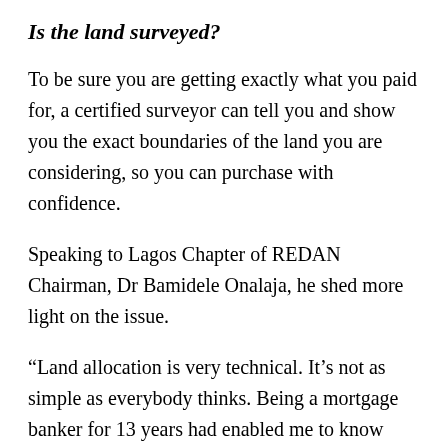Is the land surveyed?
To be sure you are getting exactly what you paid for, a certified surveyor can tell you and show you the exact boundaries of the land you are considering, so you can purchase with confidence.
Speaking to Lagos Chapter of REDAN Chairman, Dr Bamidele Onalaja, he shed more light on the issue.
“Land allocation is very technical. It’s not as simple as everybody thinks. Being a mortgage banker for 13 years had enabled me to know some of these technicalities. I went into the property business after I